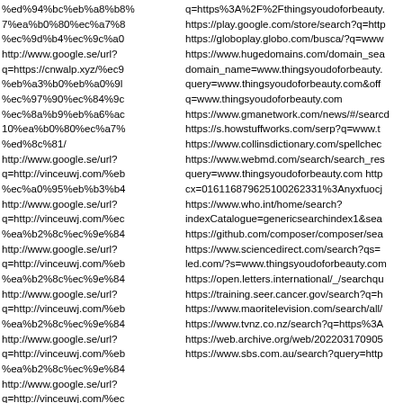%ed%94%bc%eb%a8%b8%7%ea%b0%80%ec%a7%8%ec%9d%b4%ec%9c%a0http://www.google.se/url?q=https://cnwalp.xyz/%ec%9%eb%a3%b0%eb%a0%9l%ec%97%90%ec%84%9c%ec%8a%b9%eb%a6%ac10%ea%b0%80%ec%a7%8%ed%8c%81/http://www.google.se/url?q=http://vinceuwj.com/%eb%ec%a0%95%eb%b3%b4http://www.google.se/url?q=http://vinceuwj.com/%ec%ea%b2%8c%ec%9e%84http://www.google.se/url?q=http://vinceuwj.com/%eb%ea%b2%8c%ec%9e%84http://www.google.se/url?q=http://vinceuwj.com/%eb%ea%b2%8c%ec%9e%84http://www.google.se/url?q=http://vinceuwj.com/%ec%ea%b2%8c%ec%9e%84http://www.google.se/url?q=http://vinceuwj.com/%ec%ea%b2%8c%ec%9e%84http://www.google.se/url?q=http://vinceuwj.com/%ec
q=https%3A%2F%2Fthingsyoudoforbeauty.https://play.google.com/store/search?q=httphttps://globoplay.globo.com/busca/?q=wwwhttps://www.hugedomains.com/domain_seadomain_name=www.thingsyoudoforbeauty.query=www.thingsyoudoforbeauty.com&offq=www.thingsyoudoforbeauty.comhttps://www.gmanetwork.com/news/#/searcdhttps://s.howstuffworks.com/serp?q=www.thttps://www.collinsdictionary.com/spellcheckhttps://www.webmd.com/search/search_resquery=www.thingsyoudoforbeauty.com httpcx=016116879625100262331%3Anyxfuocjhttps://www.who.int/home/search?indexCatalogue=genericsearchindex1&seahttps://github.com/composer/composer/seahttps://www.sciencedirect.com/search?qs=led.com/?s=www.thingsyoudoforbeauty.comhttps://open.letters.international/_/searchquhttps://training.seer.cancer.gov/search?q=hhttps://www.maoritelevision.com/search/allhttps://www.tvnz.co.nz/search?q=https%3Ahttps://web.archive.org/web/202203170905https://www.sbs.com.au/search?query=http